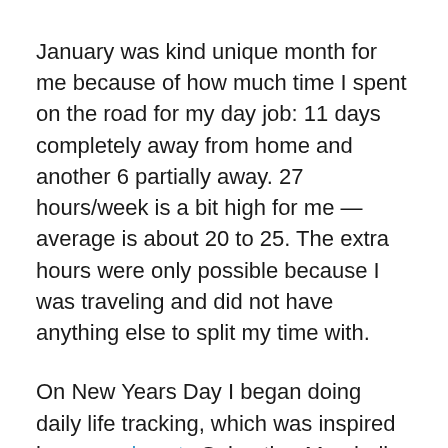January was kind unique month for me because of how much time I spent on the road for my day job: 11 days completely away from home and another 6 partially away. 27 hours/week is a bit high for me — average is about 20 to 25. The extra hours were only possible because I was traveling and did not have anything else to split my time with.
On New Years Day I began doing daily life tracking, which was inspired by several posts Sebastian Marshall has written on the topic. I've been tracking how much I eat out, how much I exercise, how much I spend, my finances, sleep schedule, etc. This deserves its own post, so I'll save the details for later, but in a nutshell it's given me some astounding insights into my life (positive and negative) and by making a few minor changes I've already